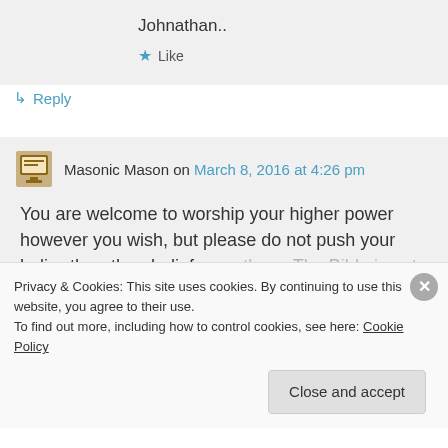Johnathan..
★ Like
↳ Reply
Masonic Mason on March 8, 2016 at 4:26 pm
You are welcome to worship your higher power however you wish, but please do not push your holier-than-thou beliefs on others. The Bible is not the only holy book...
Privacy & Cookies: This site uses cookies. By continuing to use this website, you agree to their use.
To find out more, including how to control cookies, see here: Cookie Policy
Close and accept